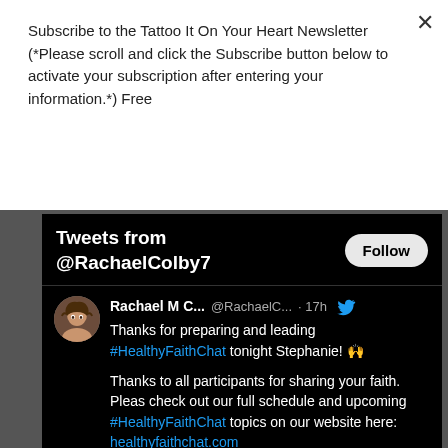Subscribe to the Tattoo It On Your Heart Newsletter (*Please scroll and click the Subscribe button below to activate your subscription after entering your information.*) Free
[Figure (screenshot): Twitter widget showing tweets from @RachaelColby7 with a Follow button, and a tweet by Rachael M C... about #HealthyFaithChat]